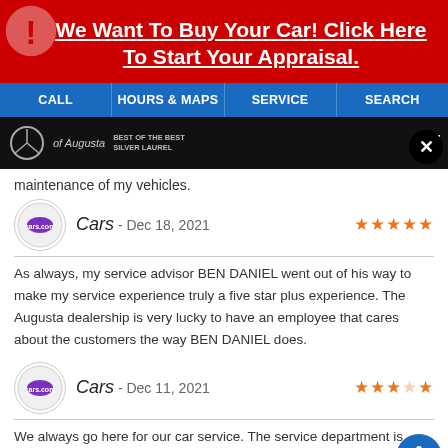We Want To Buy Your Car! Click Here To Start Your Appraisal.
CALL | HOURS & MAPS | SERVICE | SEARCH
[Figure (logo): Mercedes-Benz of Augusta dealer bar with logo and Best of the Best Silver Laurel award text]
maintenance of my vehicles.
Cars - Dec 18, 2021 ★★★★★
As always, my service advisor BEN DANIEL went out of his way to make my service experience truly a five star plus experience. The Augusta dealership is very lucky to have an employee that cares about the customers the way BEN DANIEL does.
Cars - Dec 11, 2021 ★★★★★
We always go here for our car service. The service department is excellent especially Ryan. He makes you feel privileged and